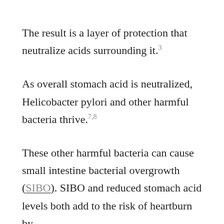The result is a layer of protection that neutralize acids surrounding it.3
As overall stomach acid is neutralized, Helicobacter pylori and other harmful bacteria thrive.7,8
These other harmful bacteria can cause small intestine bacterial overgrowth (SIBO). SIBO and reduced stomach acid levels both add to the risk of heartburn by